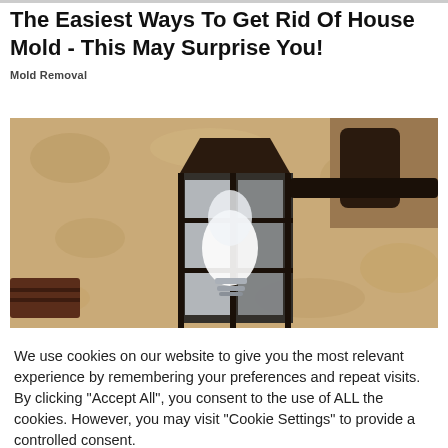The Easiest Ways To Get Rid Of House Mold - This May Surprise You!
Mold Removal
[Figure (photo): A wall-mounted outdoor lantern fixture with a glass enclosure and dark metal frame, mounted on a textured stucco wall.]
We use cookies on our website to give you the most relevant experience by remembering your preferences and repeat visits. By clicking “Accept All”, you consent to the use of ALL the cookies. However, you may visit "Cookie Settings" to provide a controlled consent.
Cookie Settings   Accept All